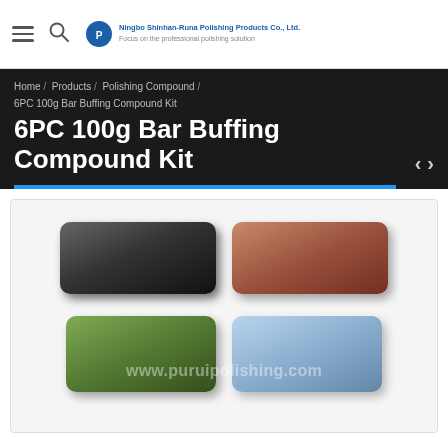Ningbo Shinhan-Runa Polishing Products Co., Ltd. Focus on the professional polishing solution
Home / Products / Polishing Compound / 6PC 100g Bar Buffing Compound Kit
6PC 100g Bar Buffing Compound Kit
[Figure (photo): Product photo showing four buffing compound bars in different colors: black, brown/red, green, and blue/lavender arranged in two rows of two.]